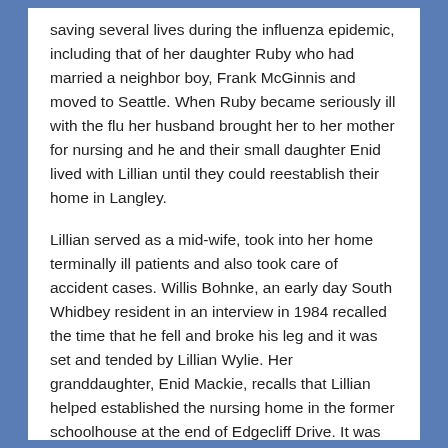saving several lives during the influenza epidemic, including that of her daughter Ruby who had married a neighbor boy, Frank McGinnis and moved to Seattle. When Ruby became seriously ill with the flu her husband brought her to her mother for nursing and he and their small daughter Enid lived with Lillian until they could reestablish their home in Langley.
Lillian served as a mid-wife, took into her home terminally ill patients and also took care of accident cases. Willis Bohnke, an early day South Whidbey resident in an interview in 1984 recalled the time that he fell and broke his leg and it was set and tended by Lillian Wylie. Her granddaughter, Enid Mackie, recalls that Lillian helped established the nursing home in the former schoolhouse at the end of Edgecliff Drive. It was later converted into a private residence. Not the least of the public activities for which she is